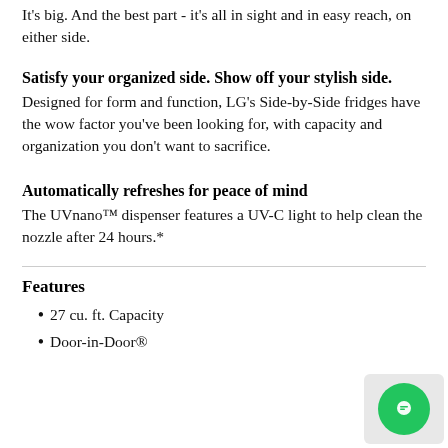It's big. And the best part - it's all in sight and in easy reach, on either side.
Satisfy your organized side. Show off your stylish side.
Designed for form and function, LG's Side-by-Side fridges have the wow factor you've been looking for, with capacity and organization you don't want to sacrifice.
Automatically refreshes for peace of mind
The UVnano™ dispenser features a UV-C light to help clean the nozzle after 24 hours.*
Features
27 cu. ft. Capacity
Door-in-Door®